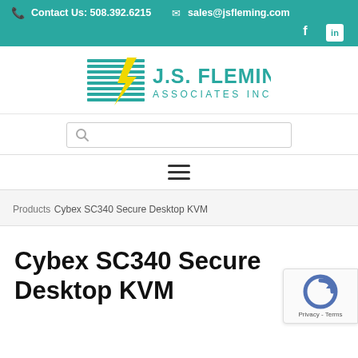Contact Us: 508.392.6215   sales@jsfleming.com
[Figure (logo): J.S. Fleming Associates Inc logo with teal lightning bolt graphic]
Products Cybex SC340 Secure Desktop KVM
Cybex SC340 Secure Desktop KVM